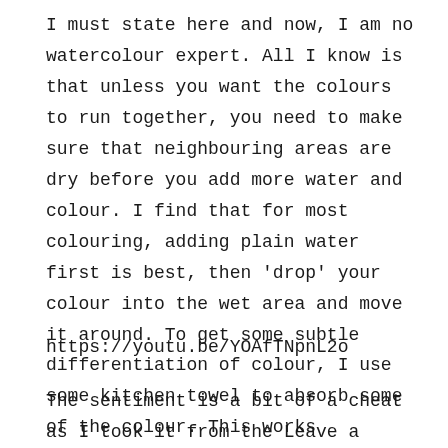I must state here and now, I am no watercolour expert. All I know is that unless you want the colours to run together, you need to make sure that neighbouring areas are dry before you add more water and colour. I find that for most colouring, adding plain water first is best, then 'drop' your colour into the wet area and move it around. To get some subtle differentiation of colour, I use some kitchen towel to absorb some of the colour. This works particularly well when you want to add light clouds to a sky. But watch the video to see exactly how I coloured the image.
https://youtu.be/YOAfTNpnL2o
The sentiment is a bit of a cheat as I took it from the Leave a Little Sparkle stamp set. I just had to use 'Make Your Dreams Come True', it was perfect for the back story of this